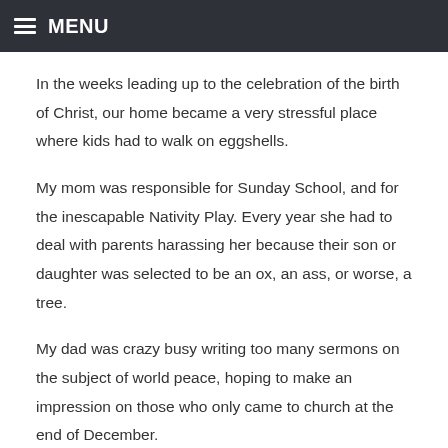MENU
In the weeks leading up to the celebration of the birth of Christ, our home became a very stressful place where kids had to walk on eggshells.
My mom was responsible for Sunday School, and for the inescapable Nativity Play. Every year she had to deal with parents harassing her because their son or daughter was selected to be an ox, an ass, or worse, a tree.
My dad was crazy busy writing too many sermons on the subject of world peace, hoping to make an impression on those who only came to church at the end of December.